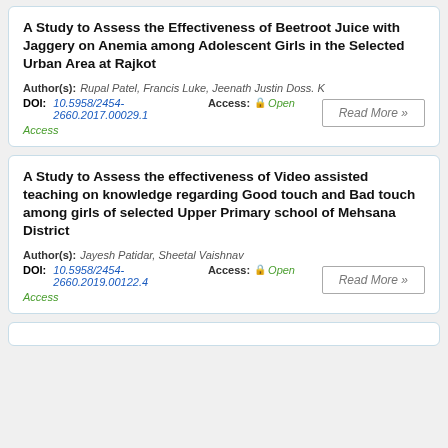A Study to Assess the Effectiveness of Beetroot Juice with Jaggery on Anemia among Adolescent Girls in the Selected Urban Area at Rajkot
Author(s): Rupal Patel, Francis Luke, Jeenath Justin Doss. K
DOI: 10.5958/2454-2660.2017.00029.1  Access: Open Access
Read More »
A Study to Assess the effectiveness of Video assisted teaching on knowledge regarding Good touch and Bad touch among girls of selected Upper Primary school of Mehsana District
Author(s): Jayesh Patidar, Sheetal Vaishnav
DOI: 10.5958/2454-2660.2019.00122.4  Access: Open Access
Read More »